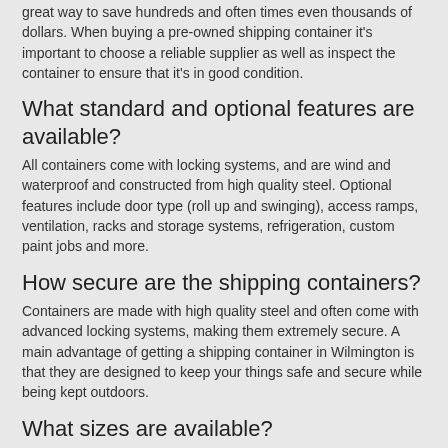great way to save hundreds and often times even thousands of dollars. When buying a pre-owned shipping container it's important to choose a reliable supplier as well as inspect the container to ensure that it's in good condition.
What standard and optional features are available?
All containers come with locking systems, and are wind and waterproof and constructed from high quality steel. Optional features include door type (roll up and swinging), access ramps, ventilation, racks and storage systems, refrigeration, custom paint jobs and more.
How secure are the shipping containers?
Containers are made with high quality steel and often come with advanced locking systems, making them extremely secure. A main advantage of getting a shipping container in Wilmington is that they are designed to keep your things safe and secure while being kept outdoors.
What sizes are available?
10, 20, 30, 40, 48, and 54 ft units are available. You can also find